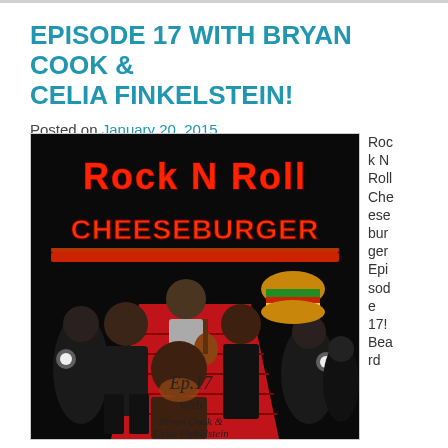EPISODE 17 WITH BRYAN COOK & CELIA FINKELSTEIN!
Posted on January 20, 2015
[Figure (photo): Rock N Roll Cheeseburger podcast episode 17 promotional image with Bryan Cook & Celia Finkelstein on a red carpet with photographers]
Rock N Roll Cheeseburger Episode 17! Beard